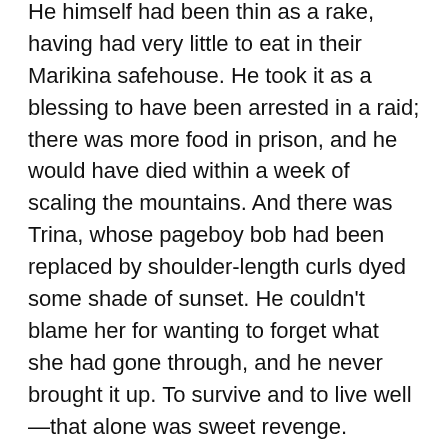He himself had been thin as a rake, having had very little to eat in their Marikina safehouse. He took it as a blessing to have been arrested in a raid; there was more food in prison, and he would have died within a week of scaling the mountains. And there was Trina, whose pageboy bob had been replaced by shoulder-length curls dyed some shade of sunset. He couldn't blame her for wanting to forget what she had gone through, and he never brought it up. To survive and to live well—that alone was sweet revenge.
“We used to talk a lot about the future—is this it? How did this happen?”
She put her arms around him and pulled him back to bed. “You think too much,” Trina said, and planted a wet kiss on his cheek. “Congratulations and good night, Mr. Secretary! Let’s call the kids in the morning!”